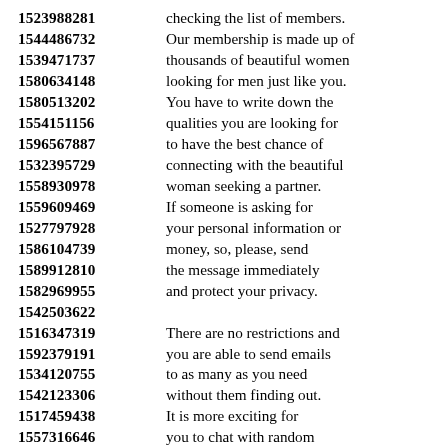1523988281 checking the list of members.
1544486732 Our membership is made up of
1539471737 thousands of beautiful women
1580634148 looking for men just like you.
1580513202 You have to write down the
1554151156 qualities you are looking for
1596567887 to have the best chance of
1532395729 connecting with the beautiful
1558930978 woman seeking a partner.
1559609469 If someone is asking for
1527797928 your personal information or
1586104739 money, so, please, send
1589912810 the message immediately
1582969955 and protect your privacy.
1542503622
1516347319 There are no restrictions and
1592379191 you are able to send emails
1534120755 to as many as you need
1542123306 without them finding out.
1517459438 It is more exciting for
1557316646 you to chat with random
1520896163 women looking for love and
1527528337 you get to share that experience,
1512665756 lead to more pleasure.
1540259317 Men are able to understand